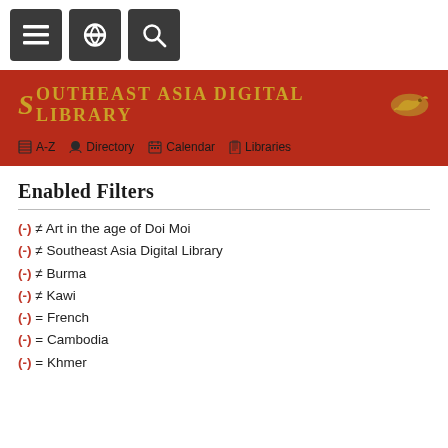Navigation bar with menu, link, and search buttons
[Figure (logo): Southeast Asia Digital Library banner logo with red background, gold serif text and decorative dragon motif. Navigation links: A-Z, Directory, Calendar, Libraries.]
Enabled Filters
(-) ≠ Art in the age of Doi Moi
(-) ≠ Southeast Asia Digital Library
(-) ≠ Burma
(-) ≠ Kawi
(-) = French
(-) = Cambodia
(-) = Khmer